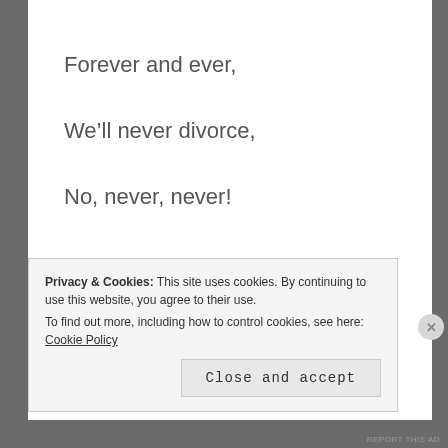Forever and ever,
We’ll never divorce,
No, never, never!
But one more thing,
Privacy & Cookies: This site uses cookies. By continuing to use this website, you agree to their use. To find out more, including how to control cookies, see here: Cookie Policy
Close and accept
REPORT THIS AD